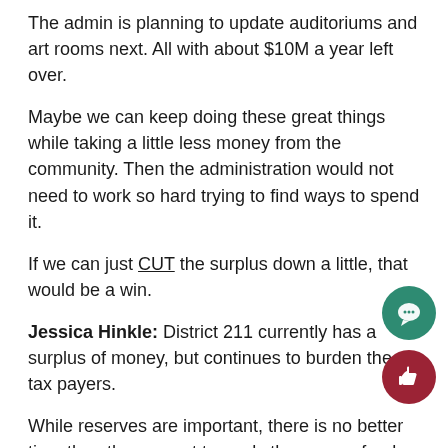The admin is planning to update auditoriums and art rooms next. All with about $10M a year left over.
Maybe we can keep doing these great things while taking a little less money from the community. Then the administration would not need to work so hard trying to find ways to spend it.
If we can just CUT the surplus down a little, that would be a win.
Jessica Hinkle: District 211 currently has a surplus of money, but continues to burden the tax payers.
While reserves are important, there is no better time than the present to apply the excess funds to improve and enhance conditions in this Covid-19 impacted environment. We are experiences extenuating circumstances in this is exactly the type of scenario we provided reserves for.